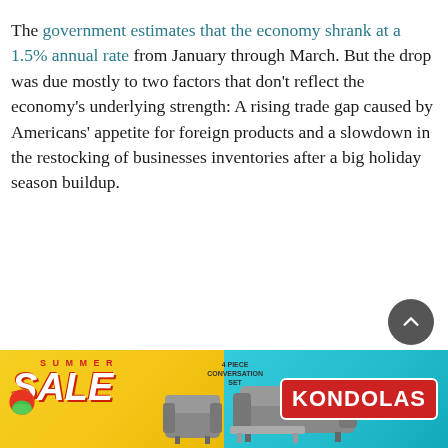The government estimates that the economy shrank at a 1.5% annual rate from January through March. But the drop was due mostly to two factors that don't reflect the economy's underlying strength: A rising trade gap caused by Americans' appetite for foreign products and a slowdown in the restocking of businesses inventories after a big holiday season buildup.
[Figure (other): Advertisement banner for Kondolas furniture summer sale, featuring outdoor furniture and yellow/teal background]